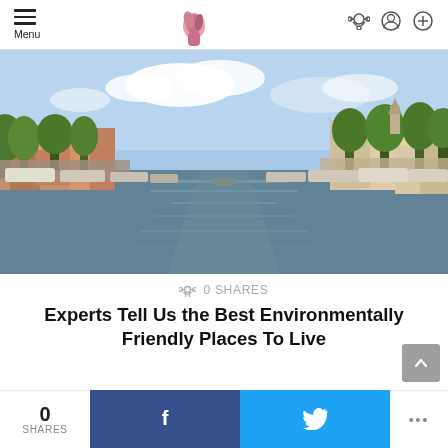Menu  [logo]  [share icon] [user icon] [search icon]
[Figure (photo): Amsterdam canal with boats moored on both sides, lined with trees and historic buildings, under a partly cloudy sky.]
0 SHARES
Experts Tell Us the Best Environmentally Friendly Places To Live
0 SHARES  [Facebook]  [Twitter]  ...